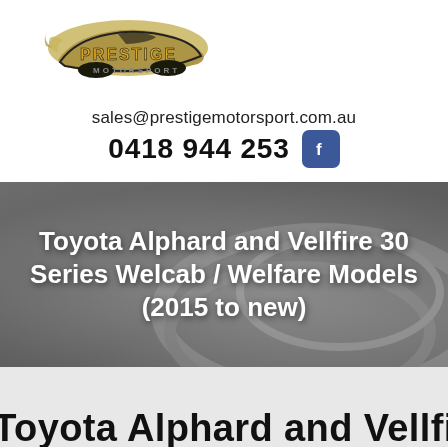[Figure (logo): Prestige Motorsport logo with stylized sports car silhouette and gold/black lettering]
sales@prestigemotorsport.com.au
0418 944 253
[Figure (logo): Facebook icon (blue square with white f)]
Toyota Alphard and Vellfire 30 Series Welcab / Welfare Models (2015 to new)
Toyota Alphard and Vellfi...